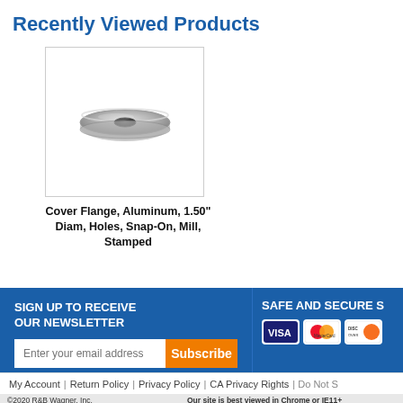Recently Viewed Products
[Figure (photo): Photo of a silver aluminum cover flange, circular/donut-shaped, stamped, mill finish]
Cover Flange, Aluminum, 1.50" Diam, Holes, Snap-On, Mill, Stamped
SIGN UP TO RECEIVE OUR NEWSLETTER
Enter your email address | Subscribe
SAFE AND SECURE S
My Account | Return Policy | Privacy Policy | CA Privacy Rights | Do Not S
©2020 R&B Wagner, Inc.    Our site is best viewed in Chrome or IE11+